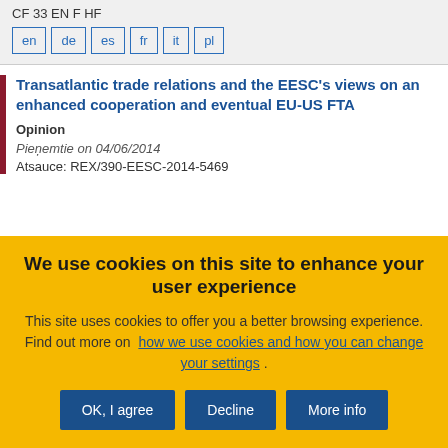CF 33 EN F HF
en de es fr it pl
Transatlantic trade relations and the EESC's views on an enhanced cooperation and eventual EU-US FTA
Opinion
Pieņemtie on 04/06/2014
Atsauce: REX/390-EESC-2014-5469
We use cookies on this site to enhance your user experience
This site uses cookies to offer you a better browsing experience. Find out more on how we use cookies and how you can change your settings .
OK, I agree | Decline | More info